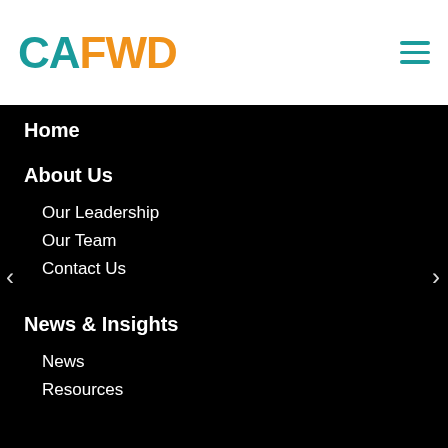CAFWD logo and hamburger menu
Home
About Us
Our Leadership
Our Team
Contact Us
News & Insights
News
Resources